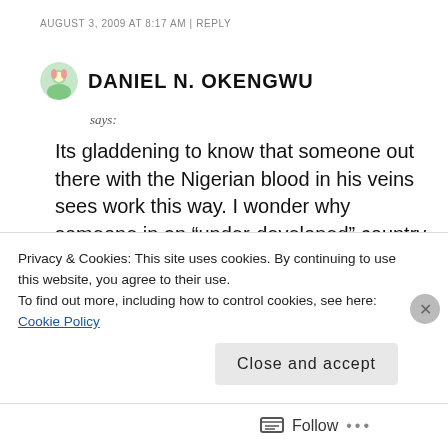AUGUST 3, 2009 AT 8:17 AM | REPLY
DANIEL N. OKENGWU
says:
Its gladdening to know that someone out there with the Nigerian blood in his veins sees work this way. I wonder why someone in an “under-developed” country would complain or joblessness. If the problem is work
Privacy & Cookies: This site uses cookies. By continuing to use this website, you agree to their use.
To find out more, including how to control cookies, see here: Cookie Policy
Close and accept
Follow